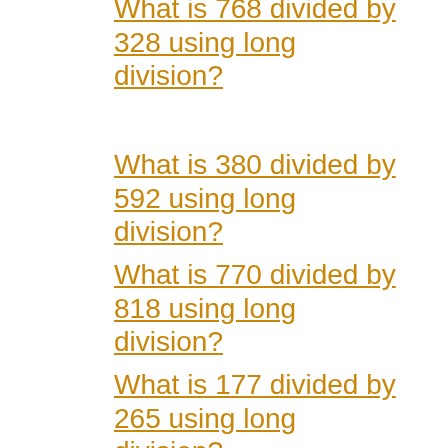What is 768 divided by 328 using long division?
What is 380 divided by 592 using long division?
What is 770 divided by 818 using long division?
What is 177 divided by 265 using long division?
What is 509 divided by 555 using long division?
What is 963 divided by 989 using long division?